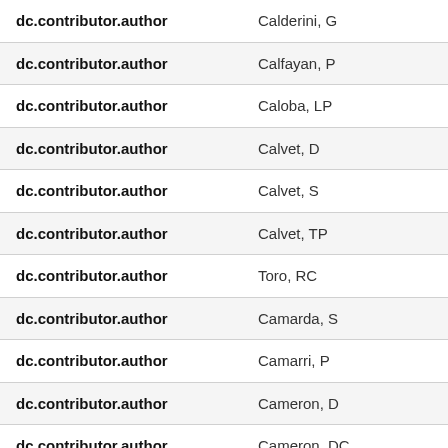| Field | Value |
| --- | --- |
| dc.contributor.author | Calderini, G |
| dc.contributor.author | Calfayan, P |
| dc.contributor.author | Caloba, LP |
| dc.contributor.author | Calvet, D |
| dc.contributor.author | Calvet, S |
| dc.contributor.author | Calvet, TP |
| dc.contributor.author | Toro, RC |
| dc.contributor.author | Camarda, S |
| dc.contributor.author | Camarri, P |
| dc.contributor.author | Cameron, D |
| dc.contributor.author | Cameron, DC |